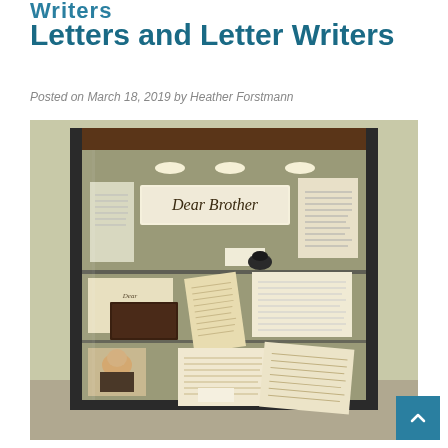Writers
Letters and Letter Writers
Posted on March 18, 2019 by Heather Forstmann
[Figure (photo): A glass museum display case with multiple shelves containing historical letters, documents, and books. A sign reading 'Dear Brother' is visible inside the case, along with various framed documents and handwritten letters. A small portrait is visible in the lower left of the case.]